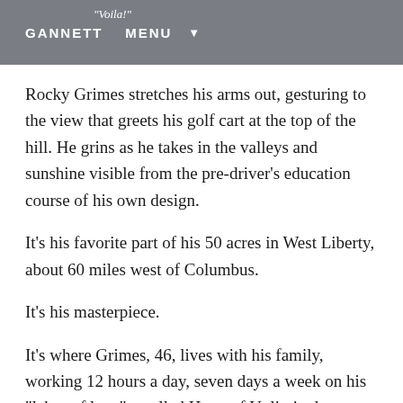"Voila!" GANNETT MENU
Rocky Grimes stretches his arms out, gesturing to the view that greets his golf cart at the top of the hill. He grins as he takes in the valleys and sunshine visible from the pre-driver’s education course of his own design.
It’s his favorite part of his 50 acres in West Liberty, about 60 miles west of Columbus.
It’s his masterpiece.
It’s where Grimes, 46, lives with his family, working 12 hours a day, seven days a week on his “labor of love”—called Heart of Unlimited Boundaries—a physical therapy oasis that’s equal